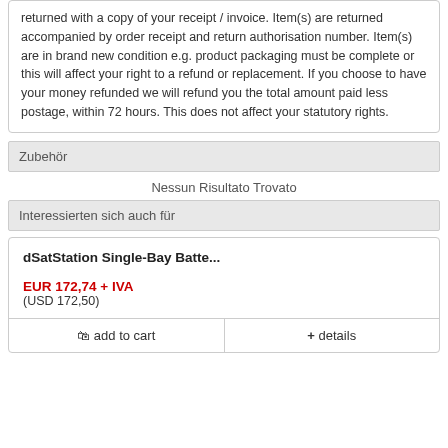returned with a copy of your receipt / invoice. Item(s) are returned accompanied by order receipt and return authorisation number. Item(s) are in brand new condition e.g. product packaging must be complete or this will affect your right to a refund or replacement. If you choose to have your money refunded we will refund you the total amount paid less postage, within 72 hours. This does not affect your statutory rights.
Zubehör
Nessun Risultato Trovato
Interessierten sich auch für
dSatStation Single-Bay Batte...
EUR 172,74 + IVA
(USD 172,50)
add to cart   + details